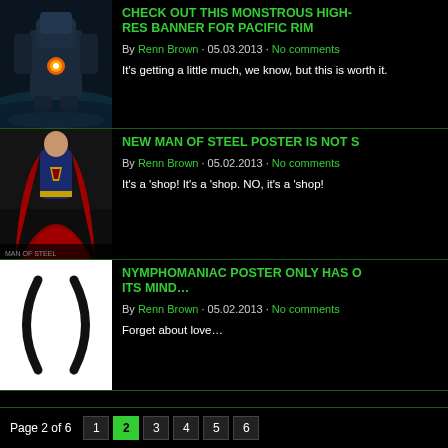[Figure (screenshot): Article listing for 'Check Out This Monstrous High-Res Banner for Pacific Rim' with thumbnail, author, date, and snippet]
CHECK OUT THIS MONSTROUS HIGH-RES BANNER FOR PACIFIC RIM
By Renn Brown · 05.03.2013 · No comments
It's getting a little much, we know, but this is worth it.
[Figure (screenshot): Article listing for 'New Man of Steel Poster Is Not S...' with Superman thumbnail, author, date, and snippet]
NEW MAN OF STEEL POSTER IS NOT S
By Renn Brown · 05.02.2013 · No comments
It's a 'shop! It's a 'shop. NO, it's a 'shop!
[Figure (screenshot): Article listing for 'Nymphomaniac Poster Only Has One Thing On Its Mind...' with abstract parentheses poster thumbnail]
NYMPHOMANIAC POSTER ONLY HAS ONE THING ON ITS MIND...
By Renn Brown · 05.02.2013 · No comments
Forget about love…
Page 2 of 6  1  2  3  4  5  6